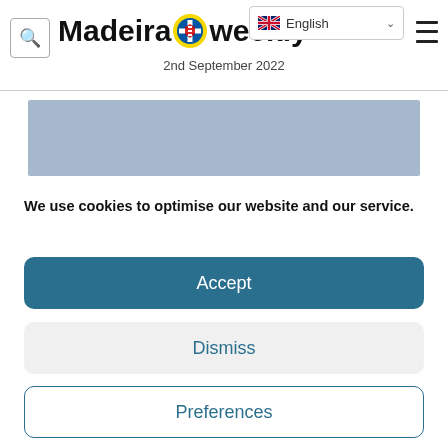Madeira Weekly — 2nd September 2022
[Figure (photo): Blue-toned image placeholder banner below the masthead]
We use cookies to optimise our website and our service.
Accept
Dismiss
Preferences
Cookie Policy   Privacy Policy